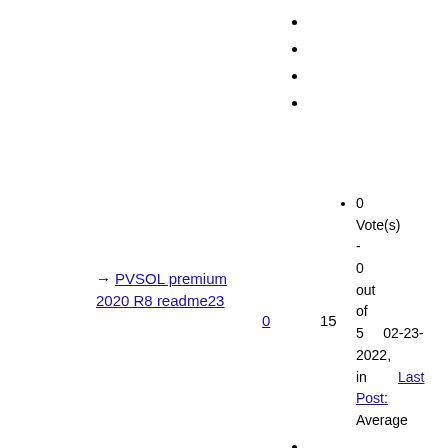•
•
•
•
0 Vote(s) - 0 out of 5 in Average  02-23-2022, Last Post:
PVSOL premium 2020 R8 readme23
0
15
•
•
•
•
•
0 Vote(s)